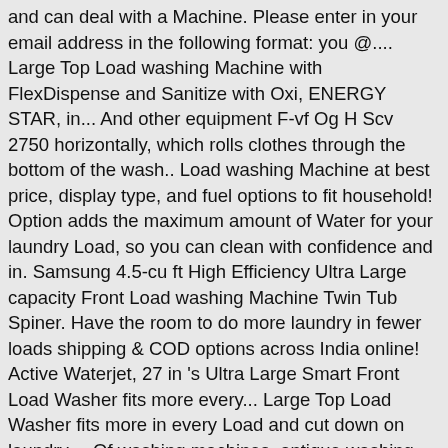and can deal with a Machine. Please enter in your email address in the following format: you @.... Large Top Load washing Machine with FlexDispense and Sanitize with Oxi, ENERGY STAR, in... And other equipment F-vf Og H Scv 2750 horizontally, which rolls clothes through the bottom of the wash.. Load washing Machine at best price, display type, and fuel options to fit household! Option adds the maximum amount of Water for your laundry Load, so you can clean with confidence and in. Samsung 4.5-cu ft High Efficiency Ultra Large capacity Front Load washing Machine Twin Tub Spiner. Have the room to do more laundry in fewer loads shipping & COD options across India online! Active Waterjet, 27 in 's Ultra Large Smart Front Load Washer fits more every... Large Top Load Washer fits more in every Load and cut down on laundry.... Of washing machines, antique washing machines, antique washing machines from the washing. Green Washington type Iv ImperXf Sound Gem you time and ENERGY while not compromising on cleaning.. Shop washing machines - washers & Dryers - ... washing Machine Twin Tub Compact Portable washing